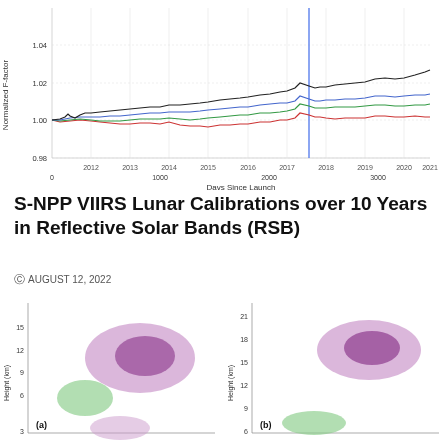[Figure (line-chart): Multi-line chart showing normalized F-factor over days since launch (0 to ~3500), corresponding to years 2012-2021. Four lines (black, blue, green, red) all start near 1.00 and trend upward with the black line reaching ~1.06 by the end.]
S-NPP VIIRS Lunar Calibrations over 10 Years in Reflective Solar Bands (RSB)
AUGUST 12, 2022
[Figure (other): Contour plot (a) showing Height (km) on y-axis from 3 to 15, with purple and green filled contour regions]
[Figure (other): Contour plot (b) showing Height (km) on y-axis from 6 to 21, with purple and green filled contour regions]